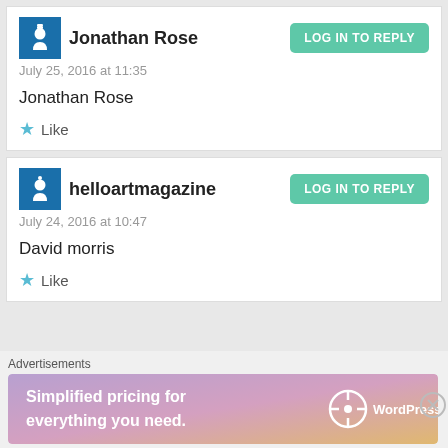Jonathan Rose
July 25, 2016 at 11:35
Jonathan Rose
★ Like
helloartmagazine
July 24, 2016 at 10:47
David morris
★ Like
Advertisements
Simplified pricing for everything you need.